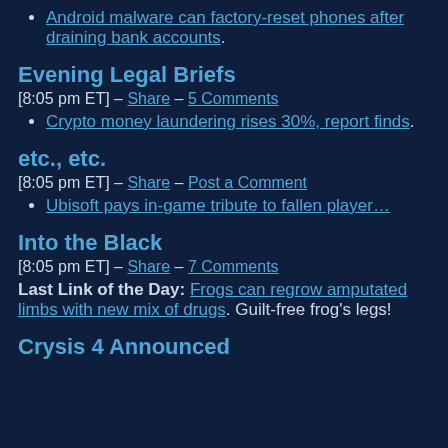Android malware can factory-reset phones after draining bank accounts.
Evening Legal Briefs
[8:05 pm ET] – Share – 5 Comments
Crypto money laundering rises 30%, report finds.
etc., etc.
[8:05 pm ET] – Share – Post a Comment
Ubisoft pays in-game tribute to fallen player…
Into the Black
[8:05 pm ET] – Share – 7 Comments
Last Link of the Day: Frogs can regrow amputated limbs with new mix of drugs. Guilt-free frog's legs!
Crysis 4 Announced